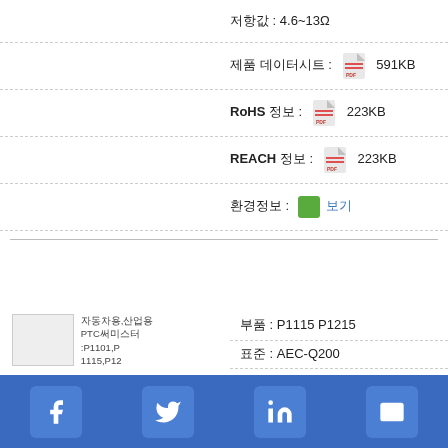저항값 : 4.6~13Ω
제품 데이터시트 : [pdf icon] 591KB
RoHS 정보 : [pdf icon] 223KB
REACH 정보 : [pdf icon] 223KB
환경정보 : [green icon] 보기
[Figure (photo): Product image thumbnail for PTC components P1101,P1115,P1201,P1215,TPT0857-F]
부품 : P1115 P1215
표준 : AEC-Q200
L×W크기 : 8.0x6.3mm [EIA 3225]
최대전압 : 63V
정격전류 : 40~100mA
트립전류최소값 : 85~210mA
저항값 : 25~55Ω
제품 데이터시트 : [pdf icon] 600KB
RoHS 정보 : [pdf icon] 223KB
REACH 정보 : [pdf icon] 223KB
환경정보 : [green icon] 보기
Facebook | Twitter | LinkedIn | Email